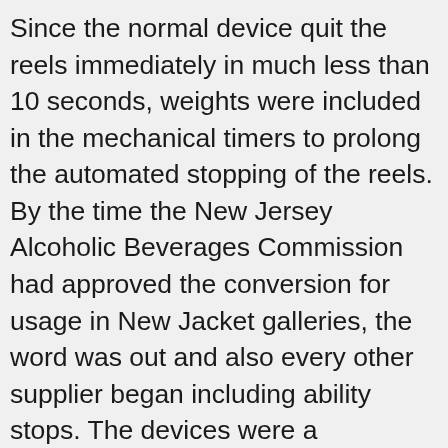Since the normal device quit the reels immediately in much less than 10 seconds, weights were included in the mechanical timers to prolong the automated stopping of the reels. By the time the New Jersey Alcoholic Beverages Commission had approved the conversion for usage in New Jacket galleries, the word was out and also every other supplier began including ability stops. The devices were a substantial appeal the Jersey Shore and also the staying unconverted Bally makers were damaged as they had come to be quickly obsolete. In spite of their confidentiality, sometimes a the same level sheet is posted on a site. They have actually restricted value to the gamer, because typically a device will have 8 to 12 different feasible programs with varying payouts. On top of that, mild variants of each machine (e.g., with double prizes or five times play) are always being established